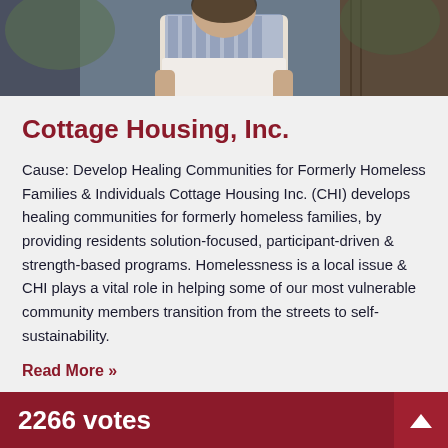[Figure (photo): A person standing outdoors, visible from the shoulders up, wearing a white top and a blue patterned scarf/shawl. Background shows wooden structures and greenery.]
Cottage Housing, Inc.
Cause: Develop Healing Communities for Formerly Homeless Families & Individuals Cottage Housing Inc. (CHI) develops healing communities for formerly homeless families, by providing residents solution-focused, participant-driven & strength-based programs. Homelessness is a local issue & CHI plays a vital role in helping some of our most vulnerable community members transition from the streets to self-sustainability.
Read More »
2266 votes